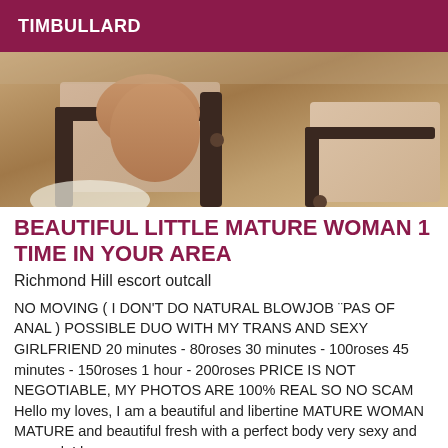TIMBULLARD
[Figure (photo): Close-up photo showing a person's legs near furniture/chairs with pink/beige upholstery]
BEAUTIFUL LITTLE MATURE WOMAN 1 TIME IN YOUR AREA
Richmond Hill escort outcall
NO MOVING ( I DON'T DO NATURAL BLOWJOB ¨PAS OF ANAL ) POSSIBLE DUO WITH MY TRANS AND SEXY GIRLFRIEND 20 minutes - 80roses 30 minutes - 100roses 45 minutes - 150roses 1 hour - 200roses PRICE IS NOT NEGOTIABLE, MY PHOTOS ARE 100% REAL SO NO SCAM Hello my loves, I am a beautiful and libertine MATURE WOMAN MATURE and beautiful fresh with a perfect body very sexy and sensual. I have